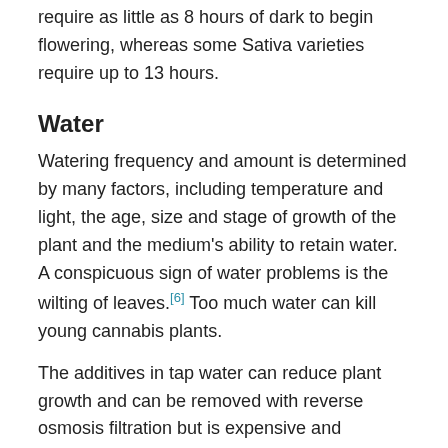require as little as 8 hours of dark to begin flowering, whereas some Sativa varieties require up to 13 hours.
Water
Watering frequency and amount is determined by many factors, including temperature and light, the age, size and stage of growth of the plant and the medium's ability to retain water. A conspicuous sign of water problems is the wilting of leaves.[6] Too much water can kill young cannabis plants.
The additives in tap water can reduce plant growth and can be removed with reverse osmosis filtration but is expensive and produces poorer results than well or spring water.
Nutrients
Nutrients are taken up from the soil by roots. Nutrient soil amendments (fertilizers) are added when the soil nutrients are depleted. Fertilizers can be chemical or organic, liquid or powder, and usually contain a mixture of ingredients.
Commercial fertilizers indicate the levels of NPK (nitrogen